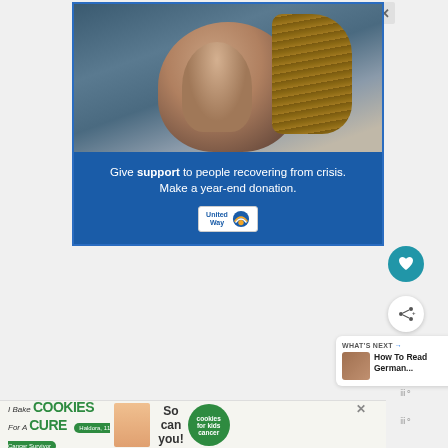[Figure (photo): Advertisement banner showing a woman with braids kissing a child on the forehead. Blue background with United Way branding. Text reads: Give support to people recovering from crisis. Make a year-end donation.]
[Figure (screenshot): What's Next card showing 'How To Read German...' teaser with thumbnail image]
[Figure (photo): Bottom banner advertisement for cookies for kids cancer charity. Text: I Bake COOKIES For A CURE, Haldora 11 Cancer Survivor, So can you! cookies for kids cancer]